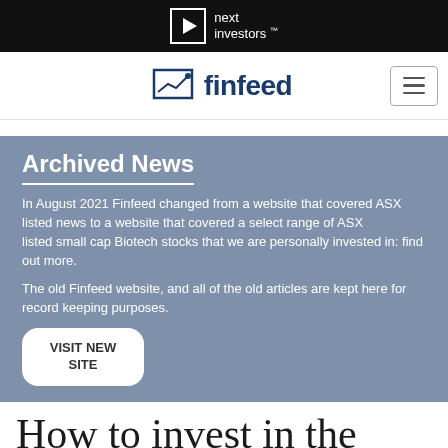next investors
finfeed
Archived News
In August 2021 Finfeed changed from a website that covered ASX listed news to a website that covered a select range of ASX listed small cap Biotech stocks that we are personally invested in: find out more.
The old Finfeed website, and all of the old articles are kept here for record keeping purposes.
VISIT NEW SITE
How to invest in the